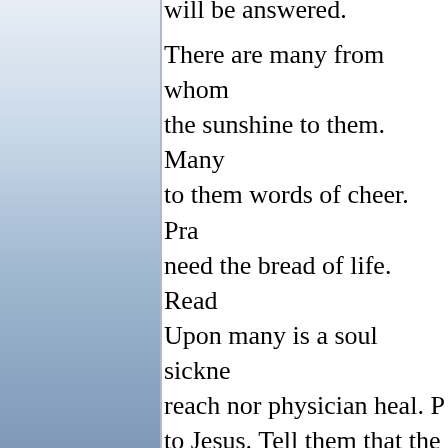[Figure (photo): Left panel showing a blue sky with clouds, partially visible, with a vertical divider line separating it from the text area.]
will be answered.

There are many from whom the sunshine to them. Many to them words of cheer. Pra need the bread of life. Rea Upon many is a soul sickne reach nor physician heal. P to Jesus. Tell them that the Physician there.

Light is a blessing, a unive treasures on a world unthan is with the light of the Sun earth, wrapped as it is in th pain, is to be lighted with t From no sect, rank, or class from heaven's throne to be